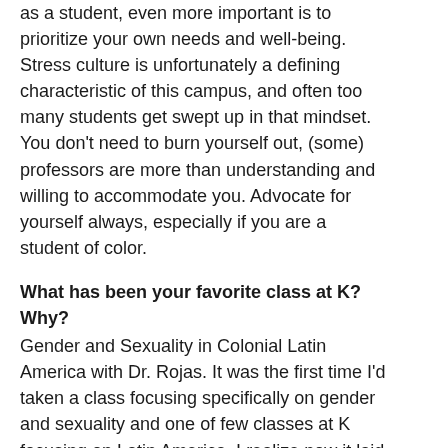as a student, even more important is to prioritize your own needs and well-being. Stress culture is unfortunately a defining characteristic of this campus, and often too many students get swept up in that mindset. You don't need to burn yourself out, (some) professors are more than understanding and willing to accommodate you. Advocate for yourself always, especially if you are a student of color.
What has been your favorite class at K? Why?
Gender and Sexuality in Colonial Latin America with Dr. Rojas. It was the first time I'd taken a class focusing specifically on gender and sexuality and one of few classes at K focusing on Latin America. I realize now it laid out some of the foundations for my SIP!
How have you taken advantage of the open curriculum or experienced breadth in your education?
There have been several instances throughout the quarters where the seemingly different classes I'm